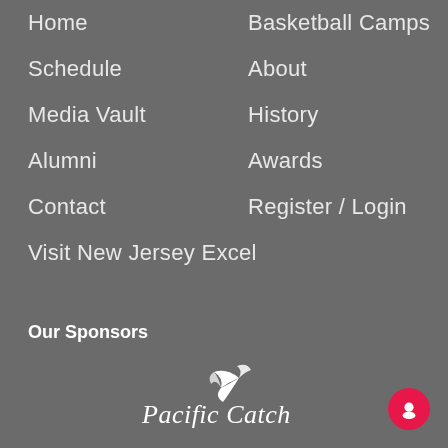Home
Basketball Camps
Schedule
About
Media Vault
History
Alumni
Awards
Contact
Register / Login
Visit New Jersey Excel
Our Sponsors
[Figure (logo): Pacific Catch logo with a fish/wave graphic above stylized script text reading 'Pacific Catch']